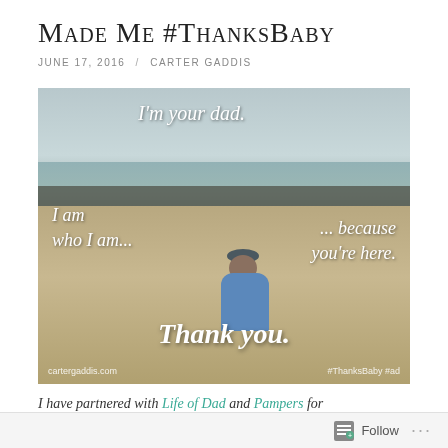Made Me #ThanksBaby
JUNE 17, 2016 / CARTER GADDIS
[Figure (photo): A toddler in a blue outfit sits on a sandy beach facing the water. Overlaid white italic text reads: 'I'm your dad.' at top, 'I am who I am...' on the left, '...because you're here.' on the right, and 'Thank you.' at the bottom. Watermark reads 'cartergaddis.com' and '#ThanksBaby #ad'.]
I have partnered with Life of Dad and Pampers for
Follow ...